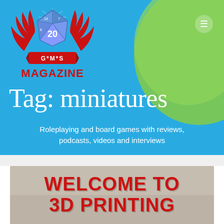[Figure (screenshot): GMS Magazine website header banner with blue background and a green sculptable object (putty/clay ball) on the right side]
[Figure (logo): GMS Magazine logo: red winged eagle with a blue d20 die showing '20', red ribbon banner reading 'G*M*S', and red bold text 'MAGAZINE' below]
Tag: miniatures
Roleplaying and board games with reviews, podcasts, videos and interviews
[Figure (photo): Article card image with sandy/stone textured background and bold red text reading 'WELCOME TO 3D PRINTING']
WELCOME TO
3D PRINTING